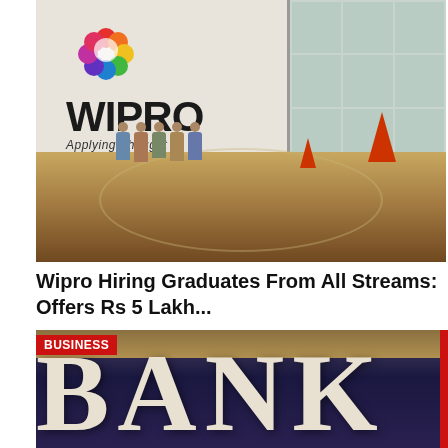[Figure (photo): Wipro company building lobby with large WIPRO logo sign and colorful flower logo, people standing in the lobby, with a polished floor and traffic cones visible]
Wipro Hiring Graduates From All Streams: Offers Rs 5 Lakh...
BUSINESS
[Figure (photo): Bank signage showing the word BANK in large silver/white serif letters on a dark navy background, with a gold/bronze frame at top]